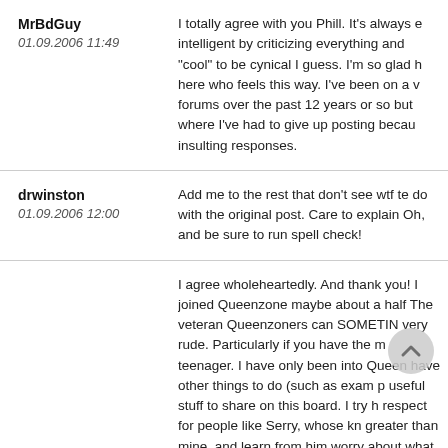MrBdGuy
01.09.2006 11:49
I totally agree with you Phill. It's always e intelligent by criticizing everything and "cool" to be cynical I guess. I'm so glad h here who feels this way. I've been on a v forums over the past 12 years or so but where I've had to give up posting becau insulting responses.
drwinston
01.09.2006 12:00
Add me to the rest that don't see wtf te do with the original post. Care to explain Oh, and be sure to run spell check!
deleted user
01.09.2006 12:15
I agree wholeheartedly. And thank you! I joined Queenzone maybe about a half The veteran Queenzoners can SOMETIN very rude. Particularly if you have the m teenager. I have only been into Queen have other things to do (such as exam p useful stuff to share on this board. I try h respect for people like Serry, whose kn greater than mine, and learn from him worry about what people think of me, a